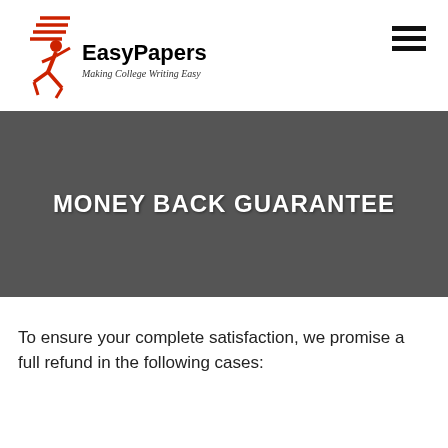[Figure (logo): EasyPapers logo with red running figure and text 'EasyPapers — Making College Writing Easy']
MONEY BACK GUARANTEE
To ensure your complete satisfaction, we promise a full refund in the following cases: